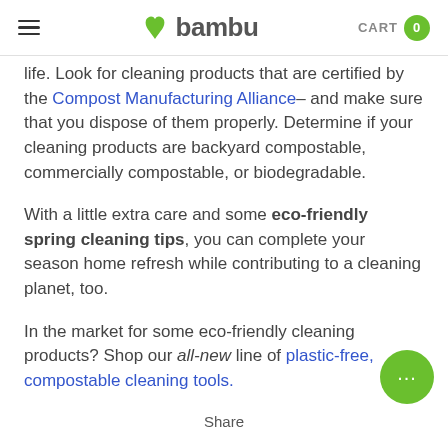bambu | CART 0
life. Look for cleaning products that are certified by the Compost Manufacturing Alliance– and make sure that you dispose of them properly. Determine if your cleaning products are backyard compostable, commercially compostable, or biodegradable.
With a little extra care and some eco-friendly spring cleaning tips, you can complete your season home refresh while contributing to a cleaning planet, too.
In the market for some eco-friendly cleaning products? Shop our all-new line of plastic-free, compostable cleaning tools.
Share